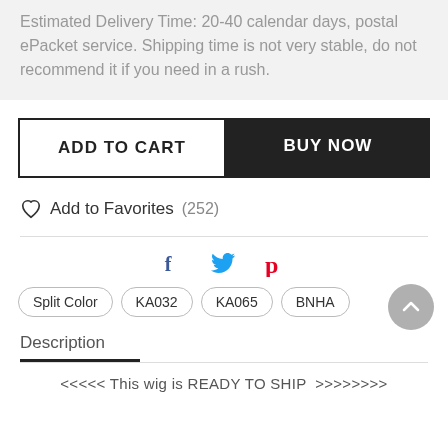Estimated Delivery Time: 20-40 calendar days, postal ePacket service. Shipping time is not very stable, do not recommend it if you need in a rush.
ADD TO CART
BUY NOW
Add to Favorites (252)
[Figure (infographic): Social share icons: Facebook (f), Twitter (bird), Pinterest (P)]
Split Color
KA032
KA065
BNHA
Description
<<<< This wig is READY TO SHIP >>>>>>>>